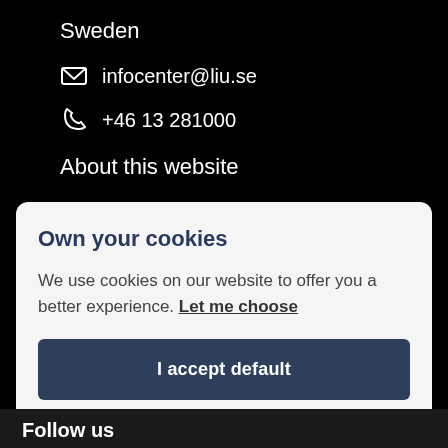Sweden
infocenter@liu.se
+46 13 281000
About this website
Own your cookies
We use cookies on our website to offer you a better experience. Let me choose
I accept default
Only necessary
Follow us